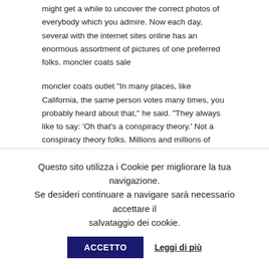might get a while to uncover the correct photos of everybody which you admire. Now each day, several with the internet sites online has an enormous assortment of pictures of one preferred folks. moncler coats sale
moncler coats outlet “In many places, like California, the same person votes many times, you probably heard about that,” he said. “They always like to say: ‘Oh that’s a conspiracy theory.’ Not a conspiracy theory folks. Millions and millions of people. There are aspects of the programme that are designed to make it easier do business in India, and to get manufacturing and other jobs growing. India has no shortage of talent or entrepreneurs. The programme will remove some of the obstacles, so, if implemented as planned, it should lead to significant job creation and investment.. moncler coats outlet
Questo sito utilizza i Cookie per migliorare la tua navigazione. Se desideri continuare a navigare sarà necessario accettare il salvataggio dei cookie.
ACCETTO
Leggi di più